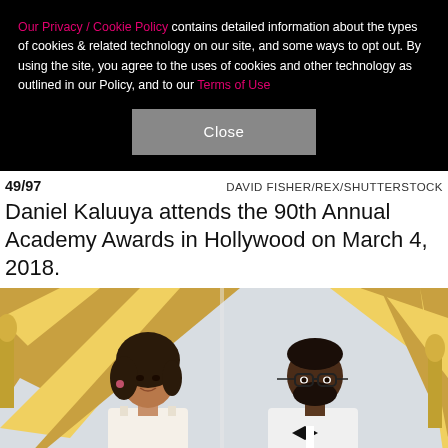Our Privacy / Cookie Policy contains detailed information about the types of cookies & related technology on our site, and some ways to opt out. By using the site, you agree to the uses of cookies and other technology as outlined in our Policy, and to our Terms of Use
Close
49/97   DAVID FISHER/REX/SHUTTERSTOCK
Daniel Kaluuya attends the 90th Annual Academy Awards in Hollywood on March 4, 2018.
[Figure (photo): Two people standing at the Oscars red carpet in front of golden chevron decorations. A woman with dark curly hair in a light dress and a man wearing glasses and a white tuxedo with bow tie.]